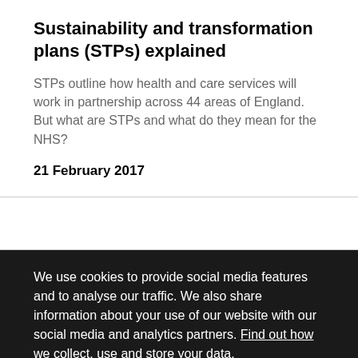Sustainability and transformation plans (STPs) explained
STPs outline how health and care services will work in partnership across 44 areas of England. But what are STPs and what do they mean for the NHS?
21 February 2017
We use cookies to provide social media features and to analyse our traffic. We also share information about your use of our website with our social media and analytics partners. Find out how we collect, use and store your data.